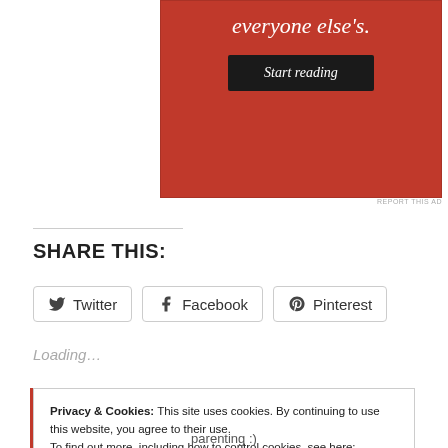[Figure (screenshot): Red advertisement banner with italic white text 'everyone else's.' and a dark 'Start reading' button]
REPORT THIS AD
SHARE THIS:
Twitter  Facebook  Pinterest
Loading...
Privacy & Cookies: This site uses cookies. By continuing to use this website, you agree to their use. To find out more, including how to control cookies, see here: Cookie Policy
Close and accept
parenting :)